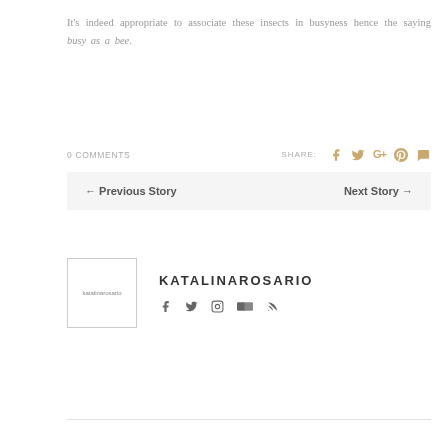It's indeed appropriate to associate these insects in busyness hence the saying busy as a bee.
0 COMMENTS   SHARE:
← Previous Story   Next Story →
[Figure (other): Author avatar placeholder image labeled katalinarosario]
KATALINAROSARIO
Social icons: facebook, twitter, instagram, flickr, rss